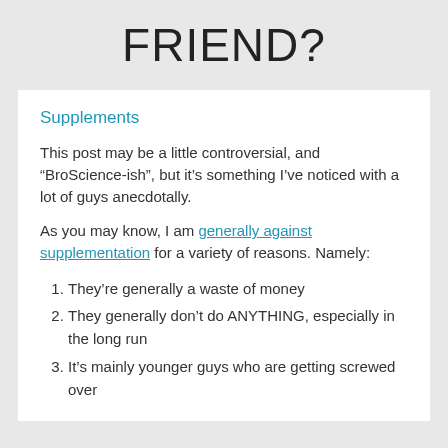FRIEND?
Supplements
This post may be a little controversial, and “BroScience-ish”, but it’s something I’ve noticed with a lot of guys anecdotally.
As you may know, I am generally against supplementation for a variety of reasons. Namely:
They’re generally a waste of money
They generally don’t do ANYTHING, especially in the long run
It’s mainly younger guys who are getting screwed over